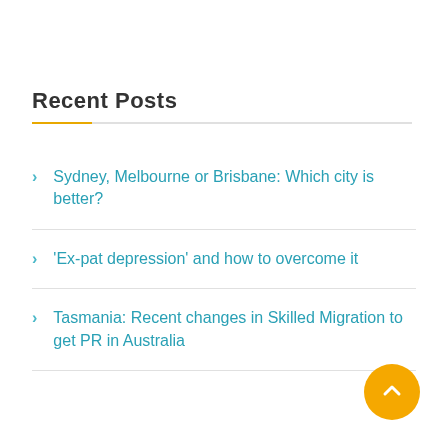Recent Posts
Sydney, Melbourne or Brisbane: Which city is better?
'Ex-pat depression' and how to overcome it
Tasmania: Recent changes in Skilled Migration to get PR in Australia